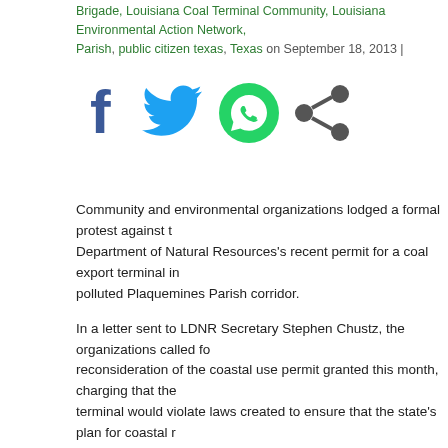Brigade, Louisiana Coal Terminal Community, Louisiana Environmental Action Network, Parish, public citizen texas, Texas on September 18, 2013 |
[Figure (infographic): Social sharing icons: Facebook (blue f), Twitter (blue bird), WhatsApp (green chat bubble), Share (gray/dark share icon)]
Community and environmental organizations lodged a formal protest against the Department of Natural Resources's recent permit for a coal export terminal in the polluted Plaquemines Parish corridor.
In a letter sent to LDNR Secretary Stephen Chustz, the organizations called for reconsideration of the coastal use permit granted this month, charging that the terminal would violate laws created to ensure that the state's plan for coastal restoration is carried out.
The letter charged that "because LDNR did not adequately analyze alternatives, cannot assess whether there are feasible and praticable alternative locations, or best practices for use that are in compliance with the modified standard under the Coastal Permit regulations."
The letter also argued that the RAM terminal conflicts with Louisiana's Comprehensive Plan for coastal restoration. The terminal "will severely impact wetlands and the Myrtle Grove with Dedicated Dredging Ecosystem Restoration Project....," the (more…)